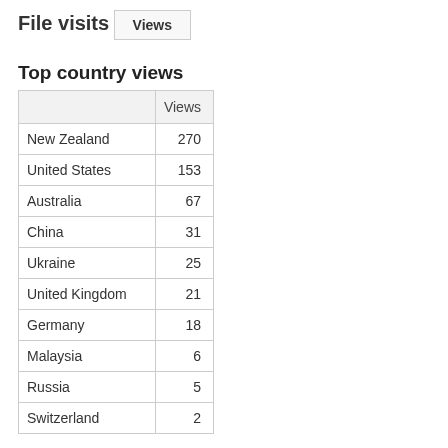File visits
Views
Top country views
|  | Views |
| --- | --- |
| New Zealand | 270 |
| United States | 153 |
| Australia | 67 |
| China | 31 |
| Ukraine | 25 |
| United Kingdom | 21 |
| Germany | 18 |
| Malaysia | 6 |
| Russia | 5 |
| Switzerland | 2 |